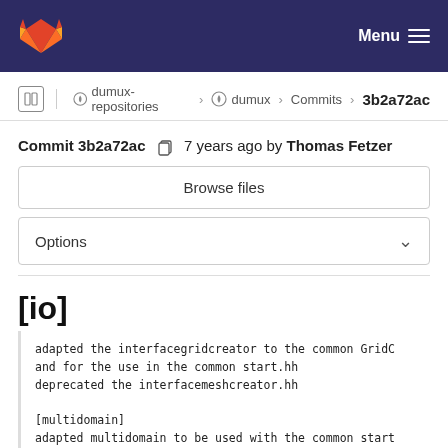Menu
dumux-repositories › dumux › Commits › 3b2a72ac
Commit 3b2a72ac  7 years ago by Thomas Fetzer
Browse files
Options
[io]
adapted the interfacegridcreator to the common GridC
and for the use in the common start.hh
deprecated the interfacemeshcreator.hh

[multidomain]
adapted multidomain to be used with the common start
deprecated the old multidomainproblem constructor